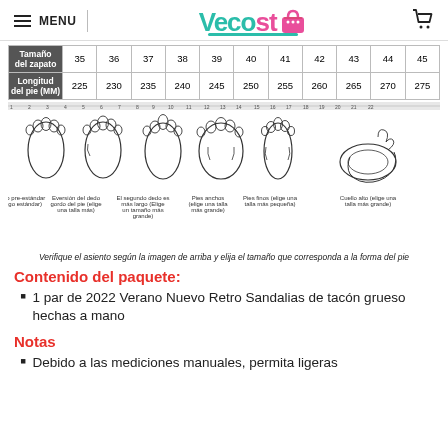MENU | Vecosto | [cart icon]
| Tamaño del zapato | 35 | 36 | 37 | 38 | 39 | 40 | 41 | 42 | 43 | 44 | 45 |
| --- | --- | --- | --- | --- | --- | --- | --- | --- | --- | --- | --- |
| Longitud del pie (MM) | 225 | 230 | 235 | 240 | 245 | 250 | 255 | 260 | 265 | 270 | 275 |
[Figure (illustration): Foot shape guide showing 6 foot types: Codice pre-estándar (Codigo estándar), Eversión del dedo gordo del pie (elige una talla más), El segundo dedo es más largo (Elige un tamaño más grande), Pies anchos (elige una talla más grande), Pies finos (elige una talla más pequeña), Cuello alto (elige una talla más grande)]
Verifique el asiento según la imagen de arriba y elija el tamaño que corresponda a la forma del pie
Contenido del paquete:
1 par de 2022 Verano Nuevo Retro Sandalias de tacón grueso hechas a mano
Notas
Debido a las mediciones manuales, permita ligeras